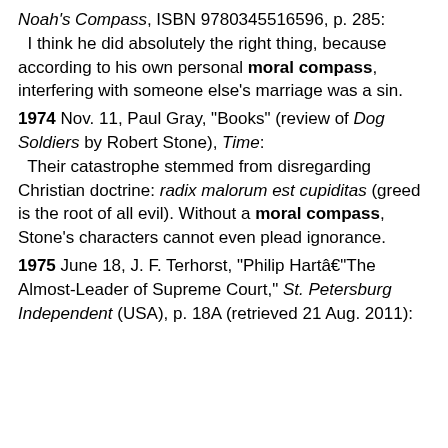Noah's Compass, ISBN 9780345516596, p. 285: I think he did absolutely the right thing, because according to his own personal moral compass, interfering with someone else's marriage was a sin.
1974 Nov. 11, Paul Gray, "Books" (review of Dog Soldiers by Robert Stone), Time: Their catastrophe stemmed from disregarding Christian doctrine: radix malorum est cupiditas (greed is the root of all evil). Without a moral compass, Stone's characters cannot even plead ignorance.
1975 June 18, J. F. Terhorst, "Philip Hartâ€"The Almost-Leader of Supreme Court," St. Petersburg Independent (USA), p. 18A (retrieved 21 Aug. 2011):